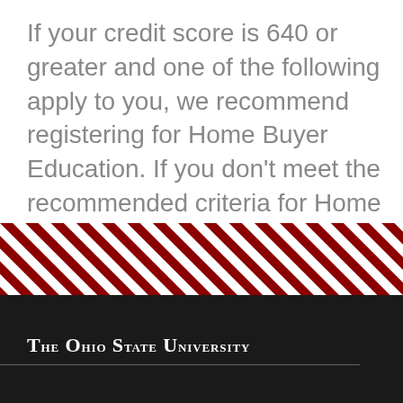If your credit score is 640 or greater and one of the following apply to you, we recommend registering for Home Buyer Education. If you don't meet the recommended criteria for Home Buyer Education, we recommend registering for Money Management.  • R ...
1  2  3  4  5  6  7  8  9  ···next ›  last »
[Figure (other): Diagonal red and white striped banner — Ohio State University decorative footer stripe]
The Ohio State University